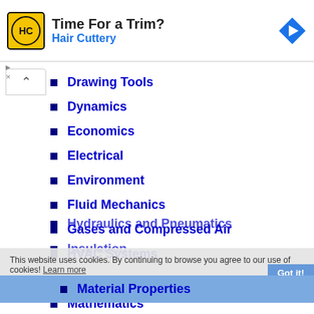[Figure (other): Hair Cuttery advertisement banner with logo, tagline 'Time For a Trim?', and navigation arrow icon]
Drawing Tools
Dynamics
Economics
Electrical
Environment
Fluid Mechanics
Gases and Compressed Air
HVAC Systems
Hydraulics and Pneumatics
Insulation
Material Properties
Mathematics
This website uses cookies. By continuing to browse you agree to our use of cookies! Learn more